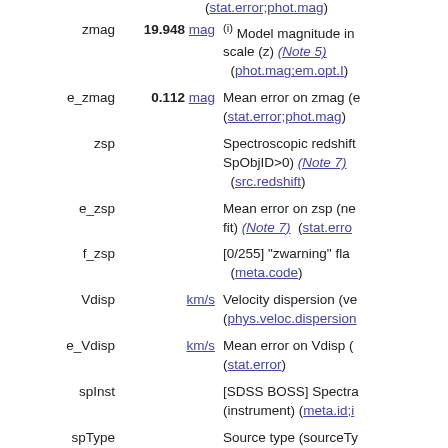(stat.error;phot.mag)
| Name | Unit | Description |
| --- | --- | --- |
| zmag | 19.948 mag | (i) Model magnitude in scale (z) (Note 5) (phot.mag;em.opt.I) |
| e_zmag | 0.112 mag | Mean error on zmag (e) (stat.error;phot.mag) |
| zsp |  | Spectroscopic redshift SpObjID>0) (Note 7) (src.redshift) |
| e_zsp |  | Mean error on zsp (neg fit) (Note 7)  (stat.erro |
| f_zsp |  | [0/255] "zwarning" fla (meta.code) |
| Vdisp | km/s | Velocity dispersion (ve (phys.veloc.dispersion |
| e_Vdisp | km/s | Mean error on Vdisp ( (stat.error) |
| spInst |  | [SDSS BOSS] Spectra (instrument) (meta.id;i |
| spType |  | Source type (sourceTy of types) (Note)  (src. |
| spCl |  | Spectroscopic class (cl GALAXY, QSO, STA |